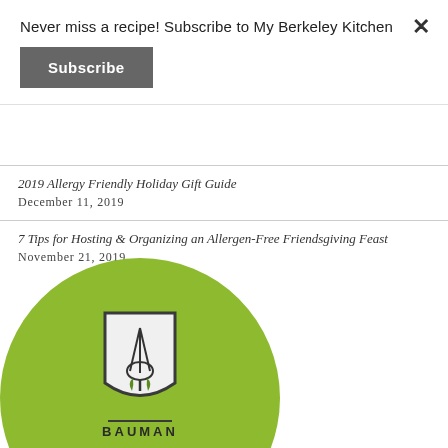Never miss a recipe! Subscribe to My Berkeley Kitchen
Subscribe
2019 Allergy Friendly Holiday Gift Guide
December 11, 2019
7 Tips for Hosting & Organizing an Allergen-Free Friendsgiving Feast
November 21, 2019
[Figure (logo): Bauman brand logo: circular green background with a shield containing a whisk and leaves, with BAUMAN text below]